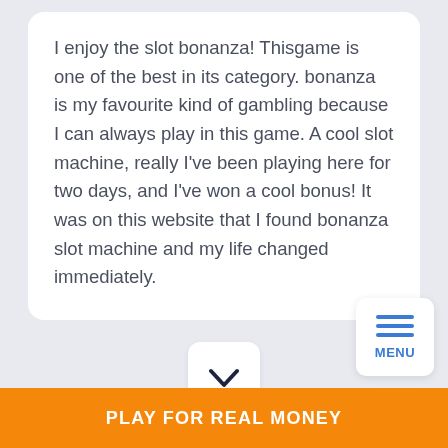I enjoy the slot bonanza! Thisgame is one of the best in its category. bonanza is my favourite kind of gambling because I can always play in this game. A cool slot machine, really I've been playing here for two days, and I've won a cool bonus! It was on this website that I found bonanza slot machine and my life changed immediately.
[Figure (other): Chevron/down arrow button in a white rounded square card]
[Figure (other): Menu button with three blue horizontal lines and MENU label in a white rounded square]
PLAY FOR REAL MONEY